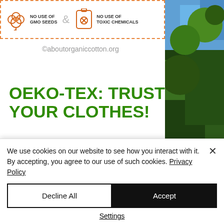[Figure (infographic): Top banner with dashed orange border showing icons: cotton plant with 'NO USE OF GMO SEEDS', ampersand symbol, skull-in-box icon with 'NO USE OF TOXIC CHEMICALS']
[Figure (photo): Photograph of tree branches with blue sky, on the right side of the page]
©aboutorganiccotton.org
OEKO-TEX: TRUST YOUR CLOTHES!
You can't buy trust. It has to be earned. OEKO-TEX Standard 100 certifies the absence of harmful chemical
We use cookies on our website to see how you interact with it. By accepting, you agree to our use of such cookies. Privacy Policy
Decline All
Accept
Settings